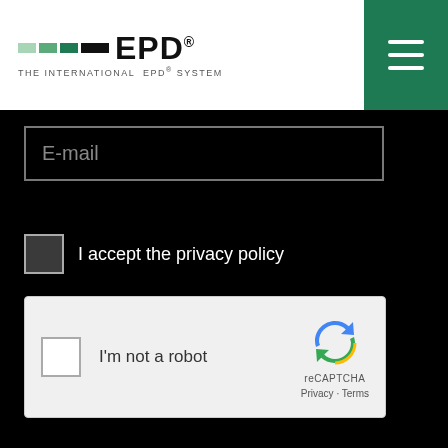EPD® THE INTERNATIONAL EPD® SYSTEM
[Figure (other): Hamburger menu icon on teal background]
E-mail
I accept the privacy policy
[Figure (other): reCAPTCHA widget with checkbox, I'm not a robot text, reCAPTCHA logo, Privacy and Terms links]
This website uses cookies to ensure you get the best experience on our website. By accessing or using this website, you agree to the use of cookies as well as the General terms of use. Read more
Ok